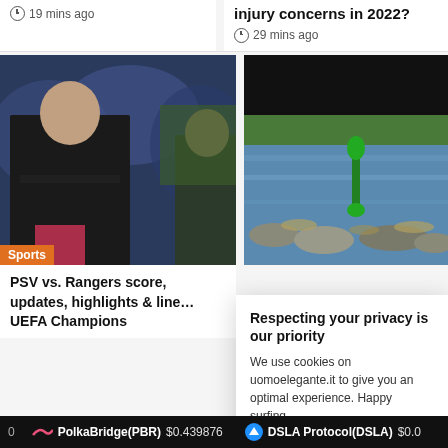19 mins ago
injury concerns in 2022?
29 mins ago
[Figure (photo): Two soccer coaches/managers on sideline, one with arms crossed]
[Figure (photo): River scene with green buoy marker and rocky shore]
Sports
PSV vs. Rangers score, updates, highlights & lineups: UEFA Champions
Respecting your privacy is our priority
We use cookies on uomoelegante.it to give you an optimal experience. Happy surfing.
PolkaBridge(PBR) $0.439876  DSLA Protocol(DSLA) $0.0